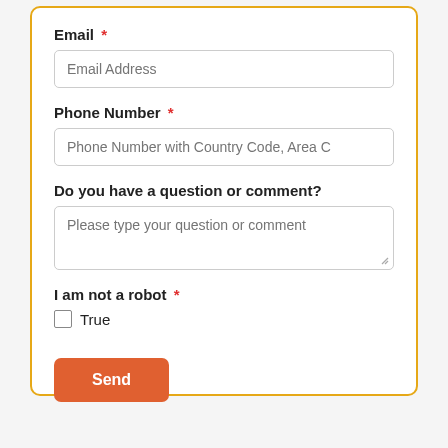Email *
Email Address
Phone Number *
Phone Number with Country Code, Area C
Do you have a question or comment?
Please type your question or comment
I am not a robot *
True
Send